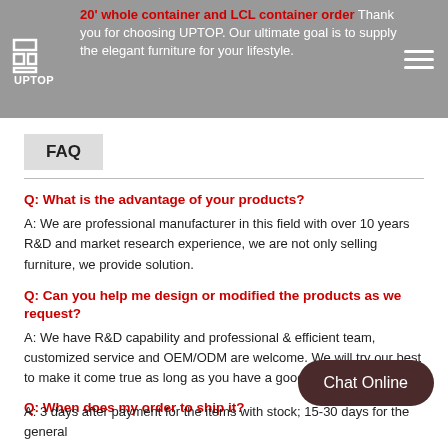20' whole container and LCL container order Thank you for choosing UPTOP. Our ultimate goal is to supply the elegant furniture for your lifestyle.
FAQ
Q: What is the advantage of your products?
A: We are professional manufacturer in this field with over 10 years R&D and market research experience, we are not only selling furniture, we provide solution.
Q: Can you help me design or modified the products as we request?
A: We have R&D capability and professional & efficient team, customized service and OEM/ODM are welcome. We will try our best to make it come true as long as you have a good idea.
Q: When does my order to ship it?
A: 3 days after payment for the items with stock; 15-30 days for the general